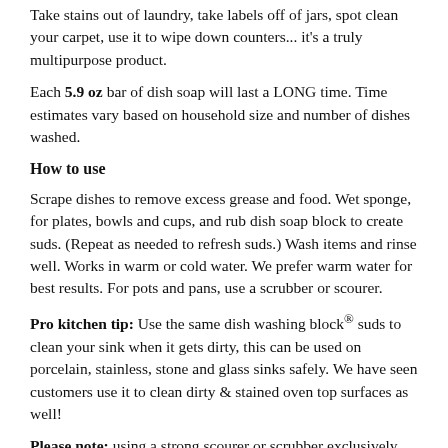Take stains out of laundry, take labels off of jars, spot clean your carpet, use it to wipe down counters... it's a truly multipurpose product.
Each 5.9 oz bar of dish soap will last a LONG time. Time estimates vary based on household size and number of dishes washed.
How to use
Scrape dishes to remove excess grease and food. Wet sponge, for plates, bowls and cups, and rub dish soap block to create suds. (Repeat as needed to refresh suds.) Wash items and rinse well. Works in warm or cold water. We prefer warm water for best results. For pots and pans, use a scrubber or scourer.
Pro kitchen tip: Use the same dish washing block® suds to clean your sink when it gets dirty, this can be used on porcelain, stainless, stone and glass sinks safely. We have seen customers use it to clean dirty & stained oven top surfaces as well!
Please note: using a strong scourer or scrubber exclusively